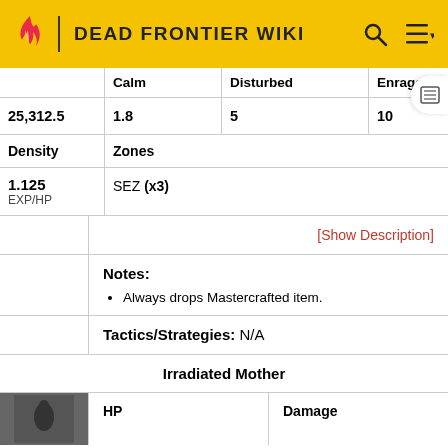DEAD FRONTIER WIKI
|  | Calm | Disturbed | Enraged |
| --- | --- | --- | --- |
| 25,312.5 | 1.8 | 5 | 10 |
| Density | Zones |  |  |
| 1.125 EXP/HP | SEZ (x3) |  |  |
[Show Description]
Notes:
Always drops Mastercrafted item.
Tactics/Strategies: N/A
Irradiated Mother
|  | HP | Damage |
| --- | --- | --- |